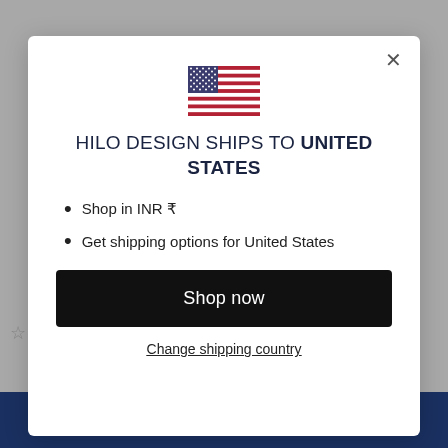[Figure (illustration): US flag emoji inside modal dialog]
HILO DESIGN SHIPS TO UNITED STATES
Shop in INR ₹
Get shipping options for United States
Shop now
Change shipping country
ADD TO CART